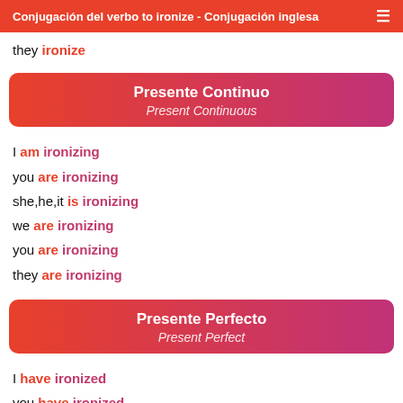Conjugación del verbo to ironize - Conjugación inglesa
they ironize
Presente Continuo / Present Continuous
I am ironizing
you are ironizing
she,he,it is ironizing
we are ironizing
you are ironizing
they are ironizing
Presente Perfecto / Present Perfect
I have ironized
you have ironized
she,he,it has ironized
we have ironized